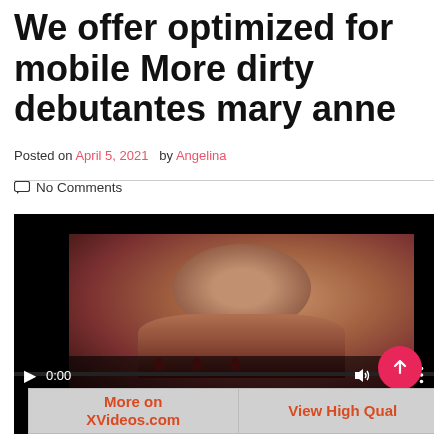We offer optimized for mobile More dirty debutantes mary anne
Posted on April 5, 2021  by Angelina
No Comments
[Figure (screenshot): Video player showing a dark video thumbnail with playback controls including play button, time 0:00, volume, fullscreen icons, a progress bar, and a pink circular upload/share button. Below the player are two buttons: 'More on XVideos.com' and 'View High Qual'.]